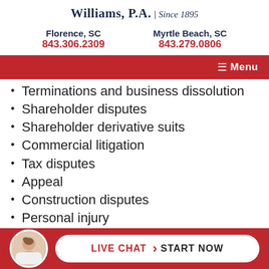Williams, P.A. | Since 1895
Florence, SC
843.306.2309
Myrtle Beach, SC
843.279.0806
≡ Menu
Terminations and business dissolution
Shareholder disputes
Shareholder derivative suits
Commercial litigation
Tax disputes
Appeal
Construction disputes
Personal injury
Mechanics liens
Probate accidents
E...ee...
LIVE CHAT > START NOW